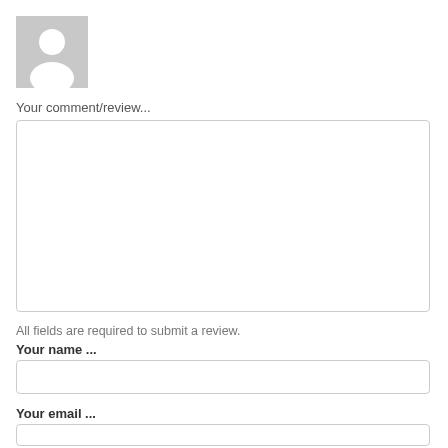[Figure (illustration): Default user avatar placeholder icon — grey square with white silhouette of a person]
Your comment/review...
[Figure (other): Large empty text area input box with light grey border]
All fields are required to submit a review.
Your name ...
[Figure (other): Single-line text input box for name with light grey border]
Your email ...
[Figure (other): Single-line text input box for email with light grey border]